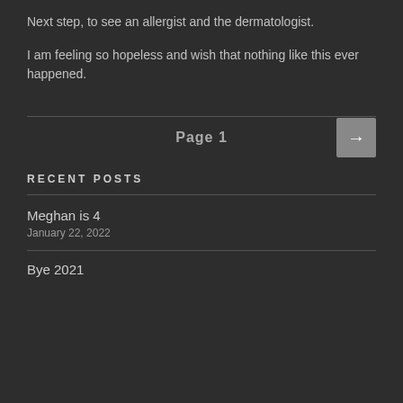Next step, to see an allergist and the dermatologist.
I am feeling so hopeless and wish that nothing like this ever happened.
Page 1
RECENT POSTS
Meghan is 4
January 22, 2022
Bye 2021